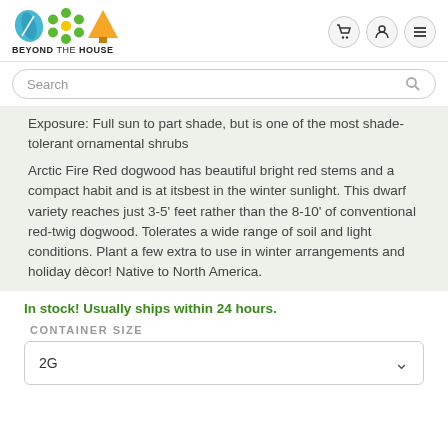[Figure (logo): Beyond the House logo with leaf, flower, and tree icons]
Search
Exposure: Full sun to part shade, but is one of the most shade-tolerant ornamental shrubs
Arctic Fire Red dogwood has beautiful bright red stems and a compact habit and is at itsbest in the winter sunlight. This dwarf variety reaches just 3-5' feet rather than the 8-10' of conventional red-twig dogwood. Tolerates a wide range of soil and light conditions. Plant a few extra to use in winter arrangements and holiday dècor! Native to North America.
In stock! Usually ships within 24 hours.
CONTAINER SIZE
2G